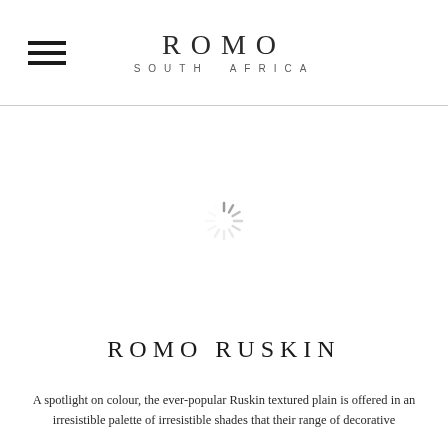ROMO SOUTH AFRICA
[Figure (other): Loading spinner icon — a circular sunburst/radial loading indicator in light grey]
ROMO RUSKIN
A spotlight on colour, the ever-popular Ruskin textured plain is offered in an irresistible palette of irresistible shades that their range of decorative